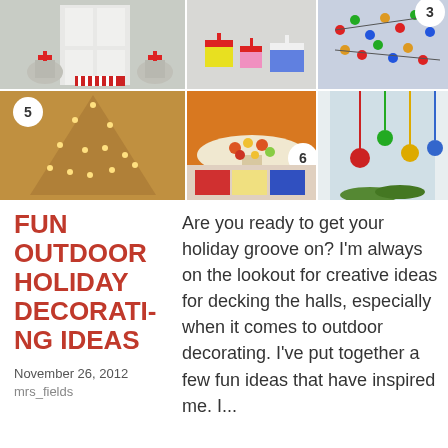[Figure (photo): Collage of holiday outdoor decorating photos: front door with urns, gift boxes, Christmas lights on tree, twig tree with lights, food platter, hanging ornaments. Numbers 3, 5, 6 badge overlays on photos.]
FUN OUTDOOR HOLIDAY DECORATING IDEAS
November 26, 2012
mrs_fields
Are you ready to get your holiday groove on? I'm always on the lookout for creative ideas for decking the halls, especially when it comes to outdoor decorating. I've put together a few fun ideas that have inspired me. I...